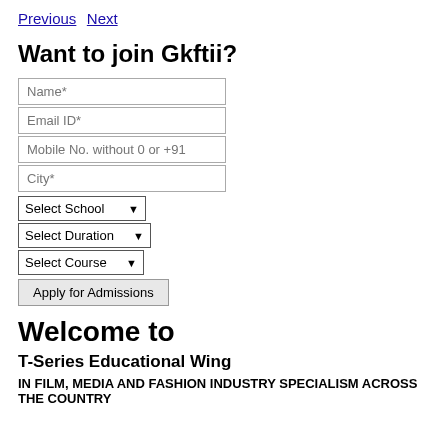Previous Next
Want to join Gkftii?
[Figure (other): Web form with input fields: Name*, Email ID*, Mobile No. without 0 or +91, City*, and dropdowns: Select School, Select Duration, Select Course, and a button Apply for Admissions]
Welcome to
T-Series Educational Wing
IN FILM, MEDIA AND FASHION INDUSTRY SPECIALISM ACROSS THE COUNTRY